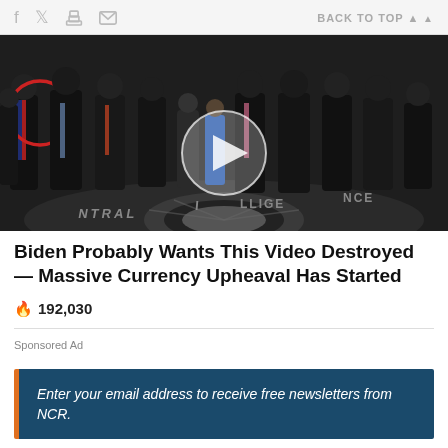f  [twitter]  [print]  [email]    BACK TO TOP ▲
[Figure (photo): Group of men in suits standing in CIA lobby with the CIA seal on the floor. One man on the left is circled in red. A video play button circle is overlaid in the center of the image.]
Biden Probably Wants This Video Destroyed — Massive Currency Upheaval Has Started
🔥 192,030
Sponsored Ad
Enter your email address to receive free newsletters from NCR.